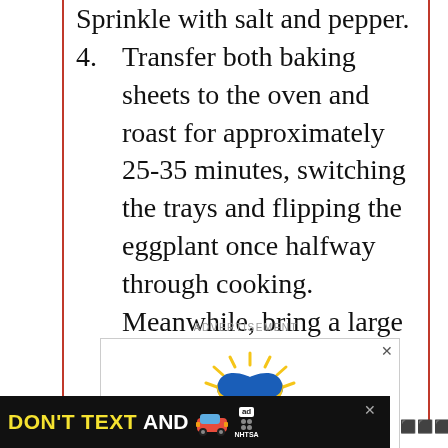Sprinkle with salt and pepper.
4. Transfer both baking sheets to the oven and roast for approximately 25-35 minutes, switching the trays and flipping the eggplant once halfway through cooking. Meanwhile, bring a large pot of water to a boil.
ADVERTISEMENT
[Figure (illustration): Ukrainian flag heart with hands illustration inside an ad box with an X close button]
[Figure (illustration): Bottom banner ad: DON'T TEXT AND [car emoji] with ad badge and NHTSA logo on black background]